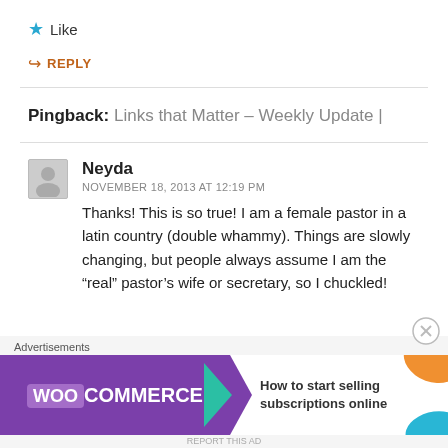★ Like
↳ REPLY
Pingback: Links that Matter – Weekly Update |
Neyda
NOVEMBER 18, 2013 AT 12:19 PM
Thanks! This is so true! I am a female pastor in a latin country (double whammy). Things are slowly changing, but people always assume I am the "real" pastor's wife or secretary, so I chuckled!
[Figure (screenshot): WooCommerce advertisement banner: 'How to start selling subscriptions online']